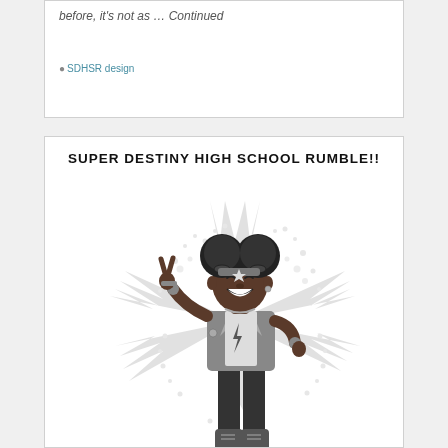before, it's not as … Continued
SDHSR design
SUPER DESTINY HIGH SCHOOL RUMBLE!!
[Figure (illustration): Black and white comic-style illustration of a young Black girl with puff buns hairstyle, wearing a jacket with a lightning bolt symbol on the shirt, jeans, and boots. She is making a peace sign with one hand and has her other hand on her hip. Behind her is a starburst/halftone dot pattern radiating outward. The art style is comic book / manga inspired.]